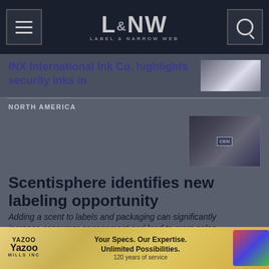L&NW LABEL & NARROW WEB
INX International Ink Co. highlights security inks in
NORTH AMERICA
Scentisphere identifies new labeling opportunity
Adding a scent to labels and packaging can significantly increase consumer engagement and lead to more sales
[Figure (photo): Advertisement banner for Yazoo Mills Inc - Your Specs. Our Expertise. Unlimited Possibilities. 120 years of service.]